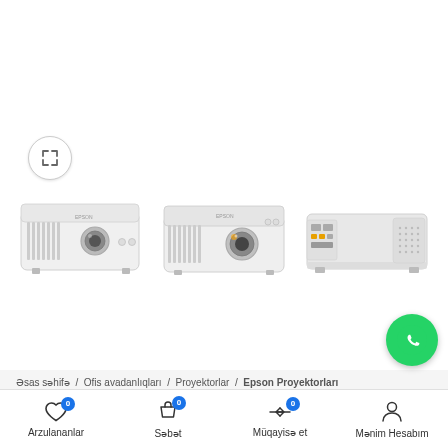[Figure (photo): Three Epson projectors shown from different angles: front-left view, front-right view, and rear/side view showing ports and speaker]
Əsas səhifə / Ofis avadanlıqları / Proyektorlar / Epson Proyektorları
[Figure (infographic): Bottom navigation bar with icons: Arzulananlar (wishlist heart icon, badge 0), Səbət (shopping bag icon, badge 0), Müqayisə et (comparison arrows icon, badge 0), Mənim Hesabım (user account icon)]